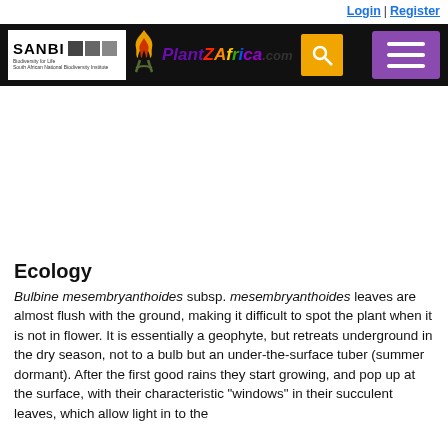Login | Register
[Figure (logo): PlantZAfrica.com website header with SANBI logo, PlantZAfrica colorful logo, search icon, and hamburger menu on black background]
Ecology
Bulbine mesembryanthoides subsp. mesembryanthoides leaves are almost flush with the ground, making it difficult to spot the plant when it is not in flower. It is essentially a geophyte, but retreats underground in the dry season, not to a bulb but an under-the-surface tuber (summer dormant). After the first good rains they start growing, and pop up at the surface, with their characteristic "windows" in their succulent leaves, which allow light in to the